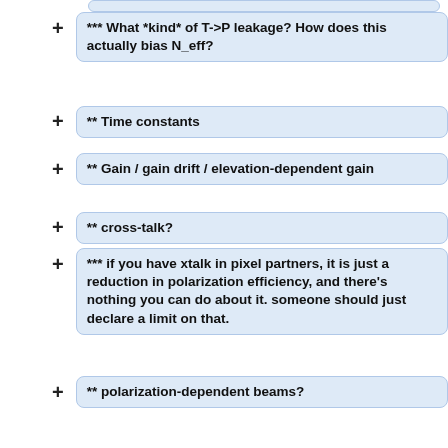*** What *kind* of T->P leakage? How does this actually bias N_eff?
** Time constants
** Gain / gain drift / elevation-dependent gain
** cross-talk?
*** if you have xtalk in pixel partners, it is just a reduction in polarization efficiency, and there's nothing you can do about it. someone should just declare a limit on that.
** polarization-dependent beams?
*** is this different from just beam mismatches between polarization partners?
*** can we measure polarized